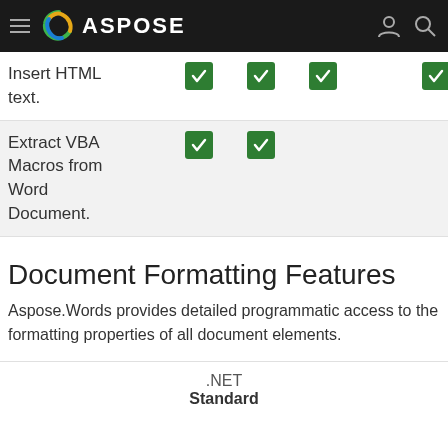ASPOSE
| Feature | Col1 | Col2 | Col3 | Col4 |
| --- | --- | --- | --- | --- |
| Insert HTML text. | ✓ | ✓ | ✓ | ✓ |
| Extract VBA Macros from Word Document. | ✓ | ✓ |  |  |
Document Formatting Features
Aspose.Words provides detailed programmatic access to the formatting properties of all document elements.
.NET
Standard